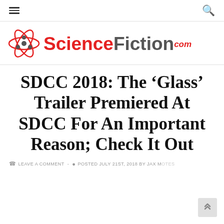≡  🔍
[Figure (logo): ScienceFiction.com logo with atom graphic and red/gray text]
SDCC 2018: The ‘Glass’ Trailer Premiered At SDCC For An Important Reason; Check It Out
LEAVE A COMMENT  -  POSTED JULY 21ST, 2018 BY JAX MOTES